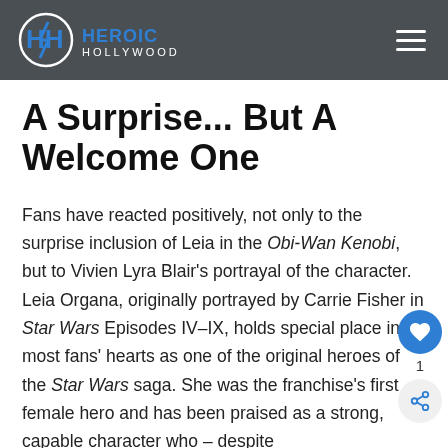Heroic Hollywood
A Surprise... But A Welcome One
Fans have reacted positively, not only to the surprise inclusion of Leia in the Obi-Wan Kenobi, but to Vivien Lyra Blair's portrayal of the character. Leia Organa, originally portrayed by Carrie Fisher in Star Wars Episodes IV-IX, holds special place in most fans' hearts as one of the original heroes of the Star Wars saga. She was the franchise's first female hero and has been praised as a strong, capable character who – despite